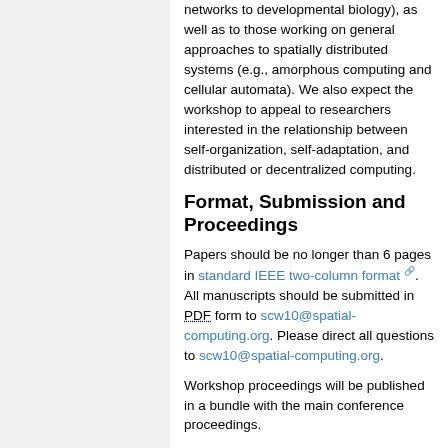networks to developmental biology), as well as to those working on general approaches to spatially distributed systems (e.g., amorphous computing and cellular automata). We also expect the workshop to appeal to researchers interested in the relationship between self-organization, self-adaptation, and distributed or decentralized computing.
Format, Submission and Proceedings
Papers should be no longer than 6 pages in standard IEEE two-column format. All manuscripts should be submitted in PDF form to scw10@spatial-computing.org. Please direct all questions to scw10@spatial-computing.org.
Workshop proceedings will be published in a bundle with the main conference proceedings.
Important Dates
July 12, 2010: Submission deadline
August 6, 2010: Acceptance notification